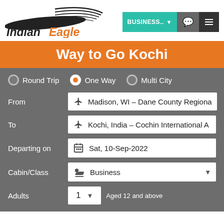[Figure (logo): Indian Eagle logo with stylized eagle wing graphic and italic text 'Indian Eagle']
[Figure (screenshot): Navigation buttons: BUSINESS.. dropdown (teal), chat icon (grey), hamburger menu (dark grey)]
Way to Go Kochi
Round Trip   One Way (selected)   Multi City
From: Madison, WI - Dane County Regional
To: Kochi, India - Cochin International A
Departing on: Sat, 10-Sep-2022
Cabin/Class: Business
Adults: 1   Aged 12 and above